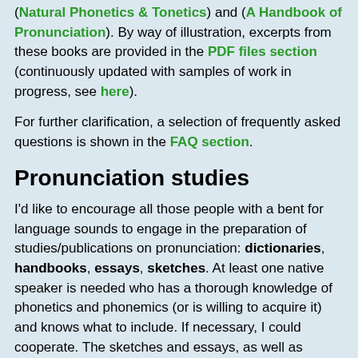(Natural Phonetics & Tonetics) and (A Handbook of Pronunciation). By way of illustration, excerpts from these books are provided in the PDF files section (continuously updated with samples of work in progress, see here).
For further clarification, a selection of frequently asked questions is shown in the FAQ section.
Pronunciation studies
I'd like to encourage all those people with a bent for language sounds to engage in the preparation of studies/publications on pronunciation: dictionaries, handbooks, essays, sketches. At least one native speaker is needed who has a thorough knowledge of phonetics and phonemics (or is willing to acquire it) and knows what to include. If necessary, I could cooperate. The sketches and essays, as well as extracts from the dictionaries and handbooks (at least during their preparation), could be shown in the PDF Files section of